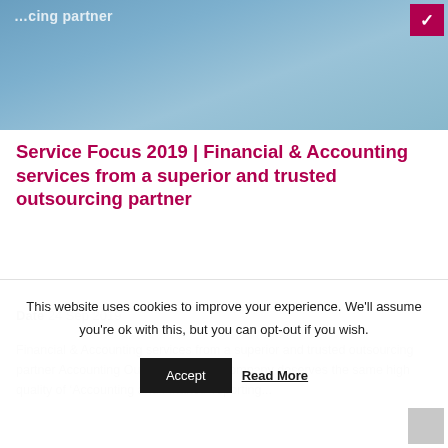[Figure (photo): Hero banner image with blue/grey gradient background and a dark red/magenta logo mark in the top right corner. Partial text visible at top.]
Service Focus 2019 | Financial & Accounting services from a superior and trusted outsourcing partner
Date 24 Sep 2019
Financial & Accounting services from a superior and trusted outsourcing partner Accounting Outsourcing Your company deserves the same high quality of ‘Accounting and Finance’ reporting...
This website uses cookies to improve your experience. We'll assume you're ok with this, but you can opt-out if you wish.
Accept   Read More